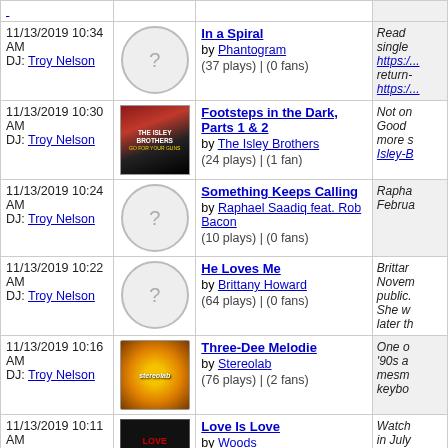| Date/DJ | Image | Track Info | Notes |
| --- | --- | --- | --- |
| 11/13/2019 10:34 AM
DJ: Troy Nelson | [placeholder] | In a Spiral by Phantogram (37 plays) | (0 fans) | Read single https://... return- https://... |
| 11/13/2019 10:30 AM
DJ: Troy Nelson | [Isley Brothers album] | Footsteps in the Dark, Parts 1 & 2 by The Isley Brothers (24 plays) | (1 fan) | Not on Good more s Isley-B |
| 11/13/2019 10:24 AM
DJ: Troy Nelson | [placeholder] | Something Keeps Calling by Raphael Saadiq feat. Rob Bacon (10 plays) | (0 fans) | Rapha Februa |
| 11/13/2019 10:22 AM
DJ: Troy Nelson | [placeholder] | He Loves Me by Brittany Howard (64 plays) | (0 fans) | Brittar Novem public. She w later th |
| 11/13/2019 10:16 AM
DJ: Troy Nelson | [Stereolab album] | Three-Dee Melodie by Stereolab (76 plays) | (2 fans) | One o '90s a mesm keybo |
| 11/13/2019 10:11 AM
DJ: Troy Nelson | [Woods album] | Love Is Love by Woods | Watch in July |